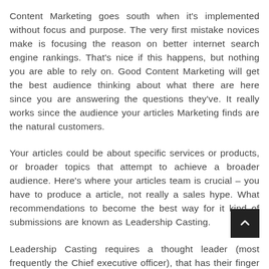Content Marketing goes south when it's implemented without focus and purpose. The very first mistake novices make is focusing the reason on better internet search engine rankings. That's nice if this happens, but nothing you are able to rely on. Good Content Marketing will get the best audience thinking about what there are here since you are answering the questions they've. It really works since the audience your articles Marketing finds are the natural customers.
Your articles could be about specific services or products, or broader topics that attempt to achieve a broader audience. Here's where your articles team is crucial – you have to produce a article, not really a sales hype. What recommendations to become the best way for it kind of submissions are known as Leadership Casting.
Leadership Casting requires a thought leader (most frequently the Chief executive officer), that has their finger around the pulse of the industry, and could be relied on to create educated and trailblazing ideas. Next, all of their